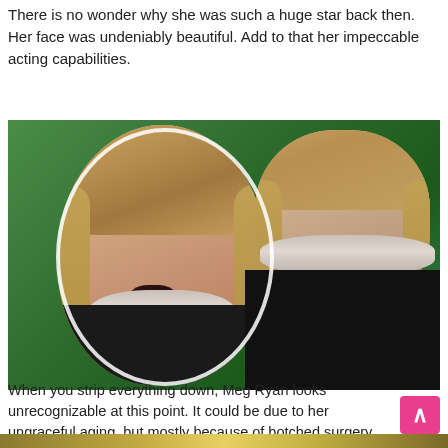There is no wonder why she was such a huge star back then. Her face was undeniably beautiful. Add to that her impeccable acting capabilities.
[Figure (photo): Two side-by-side photos of Meg Ryan. Left image is a close-up zoomed-in circular crop showing her face with an open mouth and wavy blonde hair and a statement necklace. Right image shows her full upper body in a black top with a crystal necklace, with green background.]
When you strip everything down, Meg Ryan looks unrecognizable at this point. It could be due to her ungraceful aging, but mostly because of botched surgery.